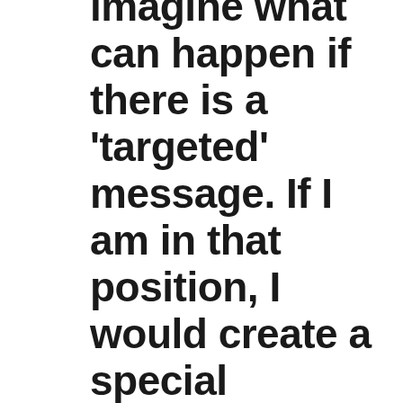imagine what can happen if there is a 'targeted' message. If I am in that position, I would create a special template for IT / BPO employees, one for Housewives, one for senior citizens and so on, so that I can use the one which makes sense in my target audience, for any